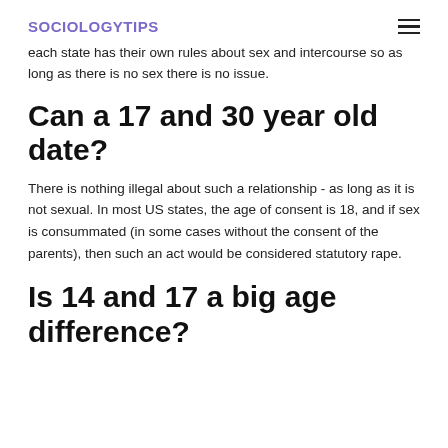SOCIOLOGYTIPS
each state has their own rules about sex and intercourse so as long as there is no sex there is no issue.
Can a 17 and 30 year old date?
There is nothing illegal about such a relationship - as long as it is not sexual. In most US states, the age of consent is 18, and if sex is consummated (in some cases without the consent of the parents), then such an act would be considered statutory rape.
Is 14 and 17 a big age difference?